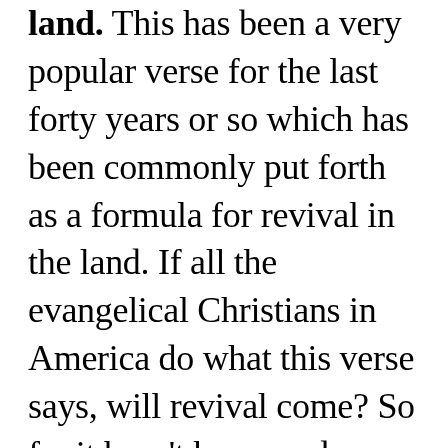land. This has been a very popular verse for the last forty years or so which has been commonly put forth as a formula for revival in the land. If all the evangelical Christians in America do what this verse says, will revival come? So far it hasn't happened.